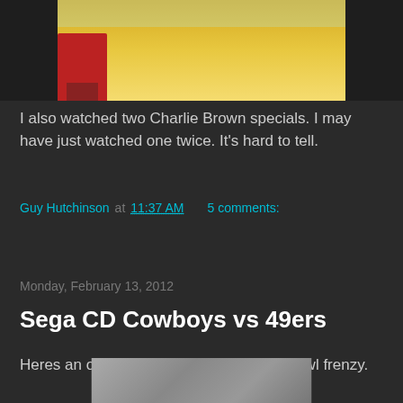[Figure (screenshot): Partial screenshot of a Charlie Brown animated special showing a character in a red outfit on a tiled floor]
I also watched two Charlie Brown specials. I may have just watched one twice. It's hard to tell.
Guy Hutchinson at 11:37 AM   5 comments:
Share
Monday, February 13, 2012
Sega CD Cowboys vs 49ers
Heres an odd game I bought in a Superbowl frenzy.
[Figure (photo): Partial view of a game cartridge or game surface, gray textured surface]